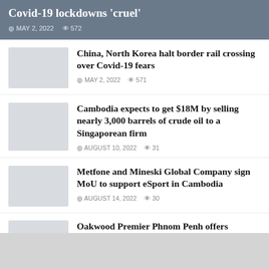Covid-19 lockdowns 'cruel'
MAY 2, 2022  572
China, North Korea halt border rail crossing over Covid-19 fears
MAY 2, 2022  571
Cambodia expects to get $18M by selling nearly 3,000 barrels of crude oil to a Singaporean firm
AUGUST 10, 2022  31
Metfone and Mineski Global Company sign MoU to support eSport in Cambodia
AUGUST 14, 2022  30
Oakwood Premier Phnom Penh offers